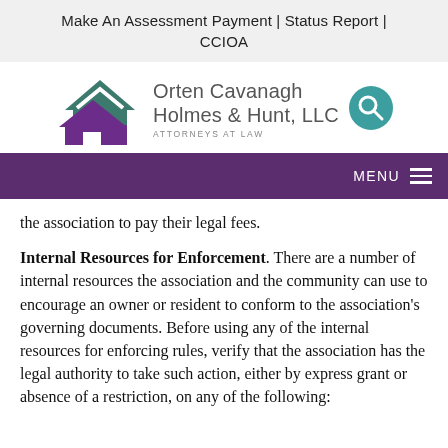Make An Assessment Payment | Status Report | CCIOA
[Figure (logo): Orten Cavanagh Holmes & Hunt, LLC Attorneys at Law logo with house icon graphic and teal search button]
MENU
the association to pay their legal fees.
Internal Resources for Enforcement. There are a number of internal resources the association and the community can use to encourage an owner or resident to conform to the association's governing documents. Before using any of the internal resources for enforcing rules, verify that the association has the legal authority to take such action, either by express grant or absence of a restriction, on any of the following: